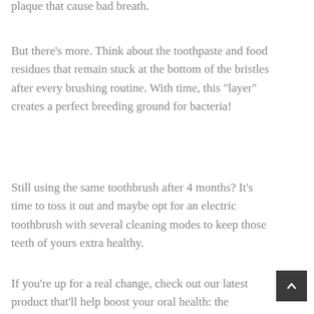plaque that cause bad breath.
But there’s more. Think about the toothpaste and food residues that remain stuck at the bottom of the bristles after every brushing routine. With time, this “layer” creates a perfect breeding ground for bacteria!
Still using the same toothbrush after 4 months? It’s time to toss it out and maybe opt for an electric toothbrush with several cleaning modes to keep those teeth of yours extra healthy.
If you’re up for a real change, check out our latest product that’ll help boost your oral health: the BASMA electric